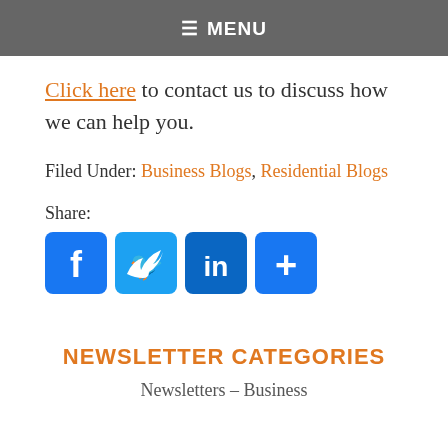≡ MENU
Click here to contact us to discuss how we can help you.
Filed Under: Business Blogs, Residential Blogs
Share:
[Figure (other): Social media share buttons: Facebook, Twitter, LinkedIn, and a plus/more button]
NEWSLETTER CATEGORIES
Newsletters – Business